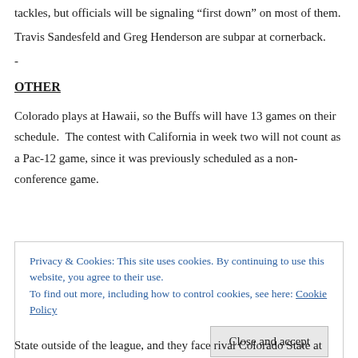tackles, but officials will be signaling “first down” on most of them.
Travis Sandesfeld and Greg Henderson are subpar at cornerback.
-
OTHER
Colorado plays at Hawaii, so the Buffs will have 13 games on their schedule.  The contest with California in week two will not count as a Pac-12 game, since it was previously scheduled as a non-conference game.
Privacy & Cookies: This site uses cookies. By continuing to use this website, you agree to their use.
To find out more, including how to control cookies, see here: Cookie Policy
State outside of the league, and they face rival Colorado State at